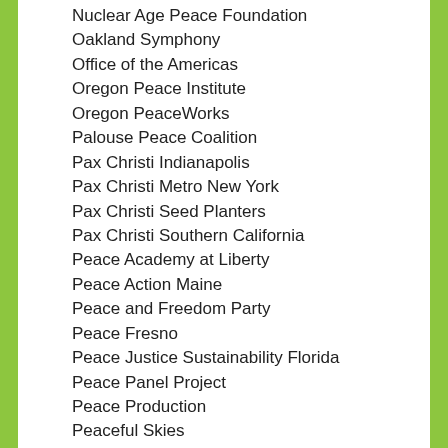Nuclear Age Peace Foundation
Oakland Symphony
Office of the Americas
Oregon Peace Institute
Oregon PeaceWorks
Palouse Peace Coalition
Pax Christi Indianapolis
Pax Christi Metro New York
Pax Christi Seed Planters
Pax Christi Southern California
Peace Academy at Liberty
Peace Action Maine
Peace and Freedom Party
Peace Fresno
Peace Justice Sustainability Florida
Peace Panel Project
Peace Production
Peaceful Skies
Peaceworkers
Peaceworkers of San Francisco CA
People for Peace & Justice Sandusky County